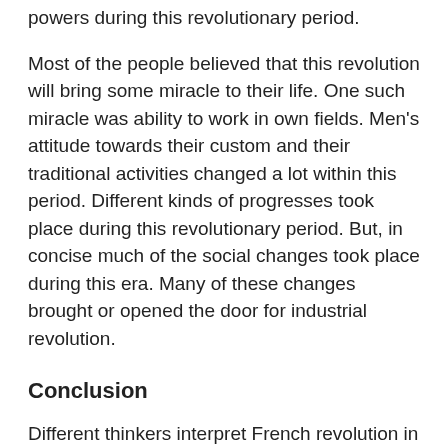highlighted was that most of the churches lost their powers during this revolutionary period.
Most of the people believed that this revolution will bring some miracle to their life. One such miracle was ability to work in own fields. Men's attitude towards their custom and their traditional activities changed a lot within this period. Different kinds of progresses took place during this revolutionary period. But, in concise much of the social changes took place during this era. Many of these changes brought or opened the door for industrial revolution.
Conclusion
Different thinkers interpret French revolution in different ways. There are many economic, social, and political reasons for the beginning of French revolution. Anyway, contribution of enlightenment thinkers had great role in fuelling revolution and giving it an appropriate direction.